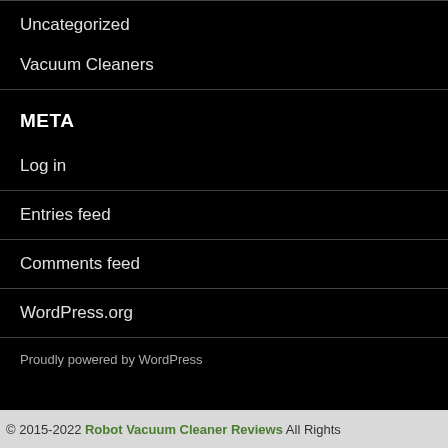Uncategorized
Vacuum Cleaners
META
Log in
Entries feed
Comments feed
WordPress.org
Proudly powered by WordPress
© 2015-2022 Robot Vacuum Cleaner Reviews All Rights